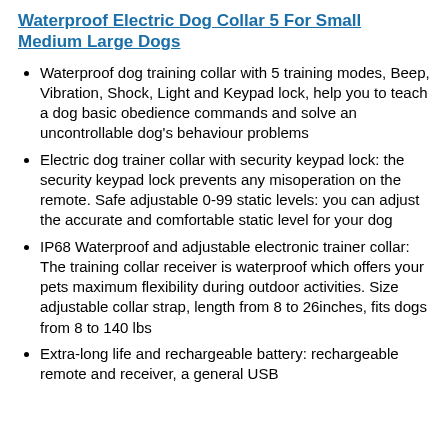Waterproof Electric Dog Collar 5 For Small Medium Large Dogs
Waterproof dog training collar with 5 training modes, Beep, Vibration, Shock, Light and Keypad lock, help you to teach a dog basic obedience commands and solve an uncontrollable dog's behaviour problems
Electric dog trainer collar with security keypad lock: the security keypad lock prevents any misoperation on the remote. Safe adjustable 0-99 static levels: you can adjust the accurate and comfortable static level for your dog
IP68 Waterproof and adjustable electronic trainer collar: The training collar receiver is waterproof which offers your pets maximum flexibility during outdoor activities. Size adjustable collar strap, length from 8 to 26inches, fits dogs from 8 to 140 lbs
Extra-long life and rechargeable battery: rechargeable remote and receiver, a general USB